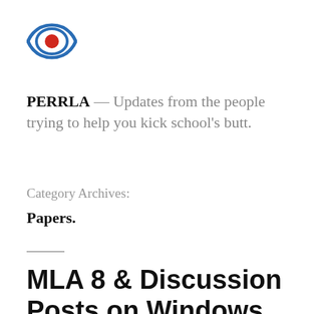[Figure (logo): PERRLA eye logo: a blue eye outline with a red filled circle pupil in the center]
PERRLA — Updates from the people trying to help you kick school's butt.
Category Archives:
Papers.
MLA 8 & Discussion Posts on Windows